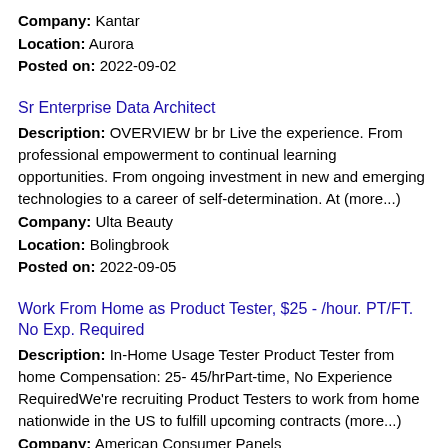Company: Kantar
Location: Aurora
Posted on: 2022-09-02
Sr Enterprise Data Architect
Description: OVERVIEW br br Live the experience. From professional empowerment to continual learning opportunities. From ongoing investment in new and emerging technologies to a career of self-determination. At (more...)
Company: Ulta Beauty
Location: Bolingbrook
Posted on: 2022-09-05
Work From Home as Product Tester, $25 - /hour. PT/FT. No Exp. Required
Description: In-Home Usage Tester Product Tester from home Compensation: 25- 45/hrPart-time, No Experience RequiredWe're recruiting Product Testers to work from home nationwide in the US to fulfill upcoming contracts (more...)
Company: American Consumer Panels
Location: Plainfield
Posted on: 2022-08-30
Product Tester from Home, $25 - $45/hour. Part-time, No Experience Required
Description: In-Home Usage Tester Product Tester from home Compensation: 25- 45/hrPart-time, No Experience